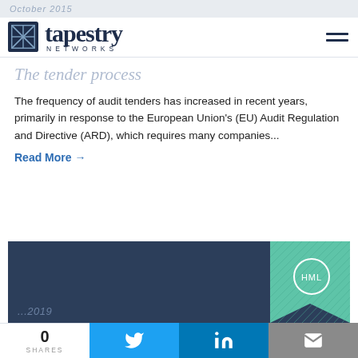October 2015
[Figure (logo): Tapestry Networks logo with geometric woven square icon and text 'tapestry NETWORKS']
The tender process
The frequency of audit tenders has increased in recent years, primarily in response to the European Union's (EU) Audit Regulation and Directive (ARD), which requires many companies...
Read More →
[Figure (other): Dark navy card section with teal geometric bookmark badge containing circle with text 'HML' and partially visible date text]
0 SHARES | Twitter share button | LinkedIn share button | Email share button